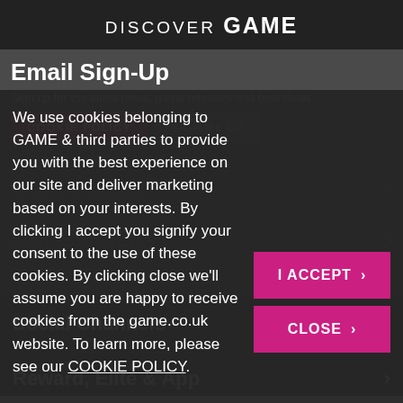DISCOVER GAME
Email Sign-Up
Sign up for the latest news, game releases and best deals
COOKIE POLICY   SIGN ME UP
We use cookies belonging to GAME & third parties to provide you with the best experience on our site and deliver marketing based on your interests. By clicking I accept you signify your consent to the use of these cookies. By clicking close we'll assume you are happy to receive cookies from the game.co.uk website. To learn more, please see our COOKIE POLICY.
I ACCEPT
CLOSE
Social Channels
Reward, Elite & App